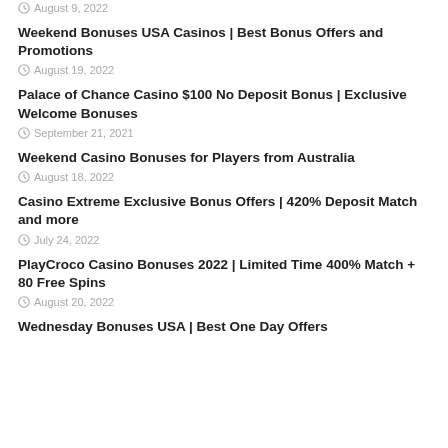August 9, 2022
Weekend Bonuses USA Casinos | Best Bonus Offers and Promotions
August 19, 2022
Palace of Chance Casino $100 No Deposit Bonus | Exclusive Welcome Bonuses
September 21, 2021
Weekend Casino Bonuses for Players from Australia
August 18, 2022
Casino Extreme Exclusive Bonus Offers | 420% Deposit Match and more
July 24, 2022
PlayCroco Casino Bonuses 2022 | Limited Time 400% Match + 80 Free Spins
August 20, 2022
Wednesday Bonuses USA | Best One Day Offers